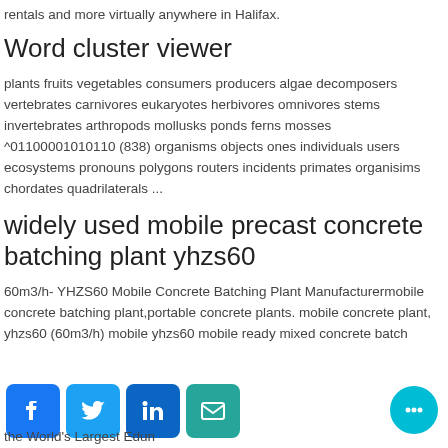rentals and more virtually anywhere in Halifax.
Word cluster viewer
plants fruits vegetables consumers producers algae decomposers vertebrates carnivores eukaryotes herbivores omnivores stems invertebrates arthropods mollusks ponds ferns mosses ^01100001010110 (838) organisms objects ones individuals users ecosystems pronouns polygons routers incidents primates organisims chordates quadrilaterals ...
widely used mobile precast concrete batching plant yhzs60
60m3/h- YHZS60 Mobile Concrete Batching Plant Manufacturermobile concrete batching plant,portable concrete plants. mobile concrete plant, yhzs60 (60m3/h) mobile yhzs60 mobile ready mixed concrete batch
the World's Largest Education